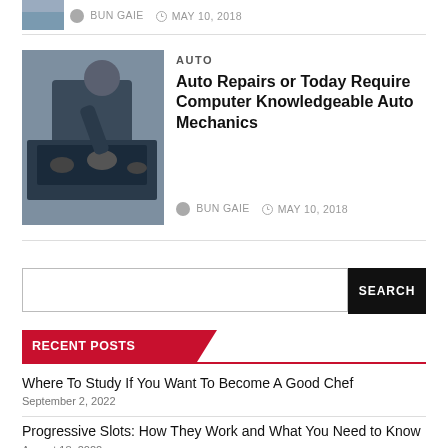[Figure (photo): Partial view of an image at the top left (cropped), mechanic or similar]
BUN GAIE  MAY 10, 2018
AUTO
Auto Repairs or Today Require Computer Knowledgeable Auto Mechanics
[Figure (photo): Mechanic leaning over a car engine, working under the hood, wearing dark clothing and a cap]
BUN GAIE  MAY 10, 2018
SEARCH
RECENT POSTS
Where To Study If You Want To Become A Good Chef  September 2, 2022
Progressive Slots: How They Work and What You Need to Know  August 18, 2022